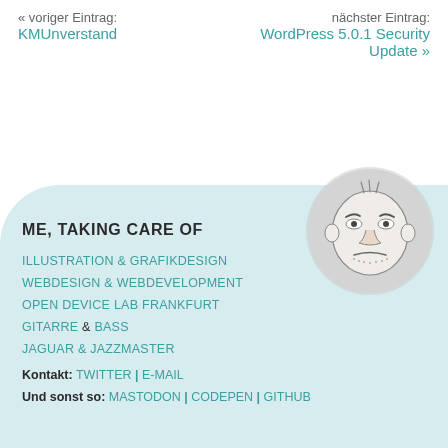« voriger Eintrag: KMUnverstand
nächster Eintrag: WordPress 5.0.1 Security Update »
ME, TAKING CARE OF
ILLUSTRATION & GRAFIKDESIGN
WEBDESIGN & WEBDEVELOPMENT
OPEN DEVICE LAB FRANKFURT
GITARRE & BASS
JAGUAR & JAZZMASTER
Kontakt: TWITTER | E-MAIL
Und sonst so: MASTODON | CODEPEN | GITHUB
[Figure (illustration): Cartoon face illustration in a grey circle, showing a grumpy/skeptical male face with stubble]